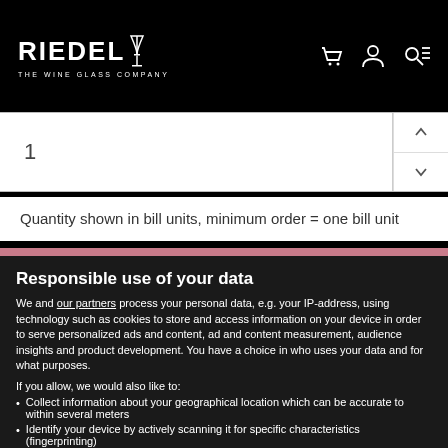RIEDEL THE WINE GLASS COMPANY
1
Quantity shown in bill units, minimum order = one bill unit
Responsible use of your data
We and our partners process your personal data, e.g. your IP-address, using technology such as cookies to store and access information on your device in order to serve personalized ads and content, ad and content measurement, audience insights and product development. You have a choice in who uses your data and for what purposes.
If you allow, we would also like to:
Collect information about your geographical location which can be accurate to within several meters
Identify your device by actively scanning it for specific characteristics (fingerprinting)
Find out more about how your personal data is processed and set your preferences in the details section. You can change or withdraw your consent